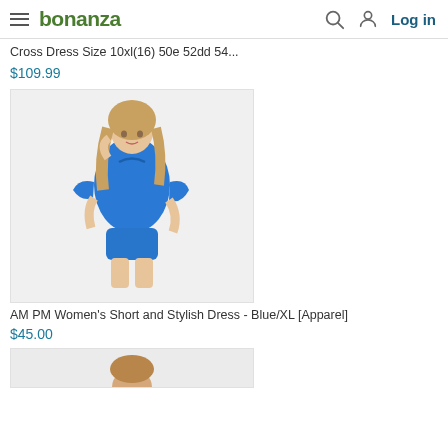bonanza — Log in
Cross Dress Size 10xl(16) 50e 52dd 54...
$109.99
[Figure (photo): Woman wearing a blue cold-shoulder short romper/dress]
AM PM Women's Short and Stylish Dress - Blue/XL [Apparel]
$45.00
[Figure (photo): Partial image of another product at bottom of page]